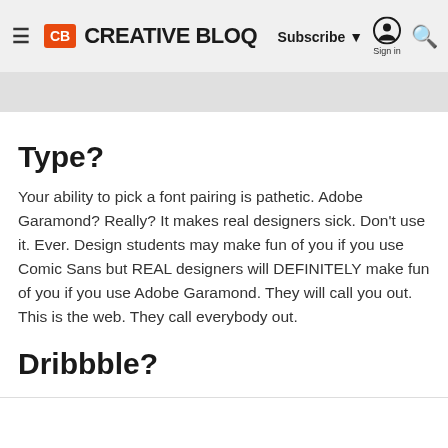CB CREATIVE BLOQ | Subscribe ▼ Sign in 🔍
Type?
Your ability to pick a font pairing is pathetic. Adobe Garamond? Really? It makes real designers sick. Don't use it. Ever. Design students may make fun of you if you use Comic Sans but REAL designers will DEFINITELY make fun of you if you use Adobe Garamond. They will call you out. This is the web. They call everybody out.
Dribbble?